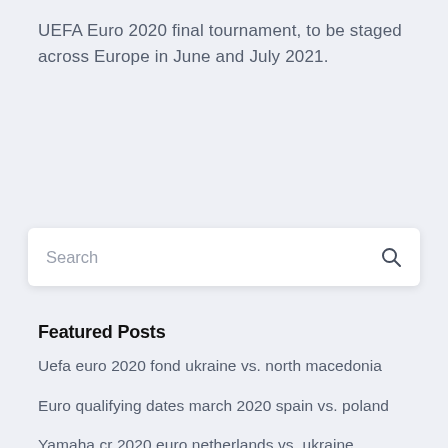UEFA Euro 2020 final tournament, to be staged across Europe in June and July 2021.
[Figure (screenshot): Search input box with placeholder text 'Search' and a magnifying glass icon on the right]
Featured Posts
Uefa euro 2020 fond ukraine vs. north macedonia
Euro qualifying dates march 2020 spain vs. poland
Yamaha cr 2020 euro netherlands vs. ukraine